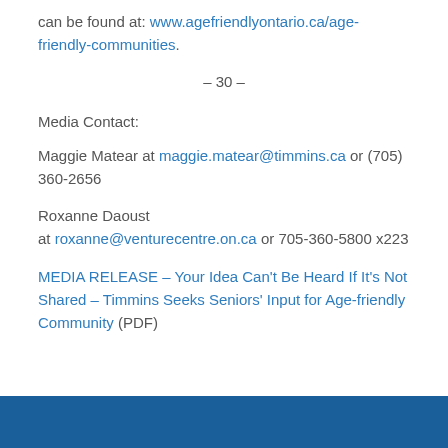can be found at: www.agefriendlyontario.ca/age-friendly-communities.
– 30 –
Media Contact:
Maggie Matear at maggie.matear@timmins.ca or (705) 360-2656
Roxanne Daoust at roxanne@venturecentre.on.ca or 705-360-5800 x223
MEDIA RELEASE – Your Idea Can't Be Heard If It's Not Shared – Timmins Seeks Seniors' Input for Age-friendly Community (PDF)